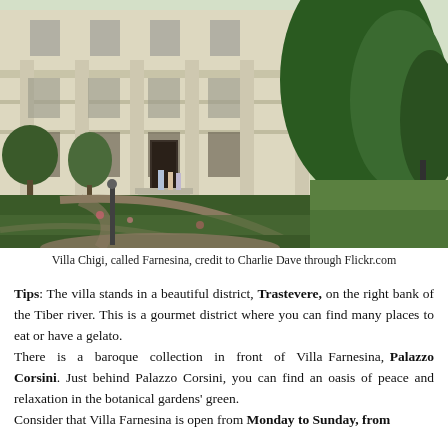[Figure (photo): Exterior photograph of Villa Chigi (Farnesina) with its formal Italian garden in the foreground, manicured hedges and rose bushes, and trees on the right side. Several visitors stand near the entrance of the building.]
Villa Chigi, called Farnesina, credit to Charlie Dave through Flickr.com
Tips: The villa stands in a beautiful district, Trastevere, on the right bank of the Tiber river. This is a gourmet district where you can find many places to eat or have a gelato. There is a baroque collection in front of Villa Farnesina, Palazzo Corsini. Just behind Palazzo Corsini, you can find an oasis of peace and relaxation in the botanical gardens' green. Consider that Villa Farnesina is open from Monday to Sunday, from